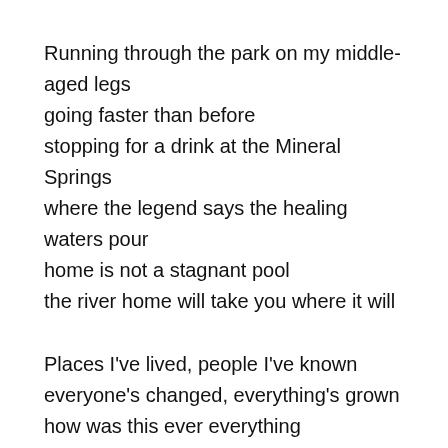Running through the park on my middle-aged legs
going faster than before
stopping for a drink at the Mineral Springs
where the legend says the healing waters pour
home is not a stagnant pool
the river home will take you where it will
Places I've lived, people I've known
everyone's changed, everything's grown
how was this ever everything
how can I ever go home?
the sun still comes up, the dogs still bark
the kids still play in the same old parks